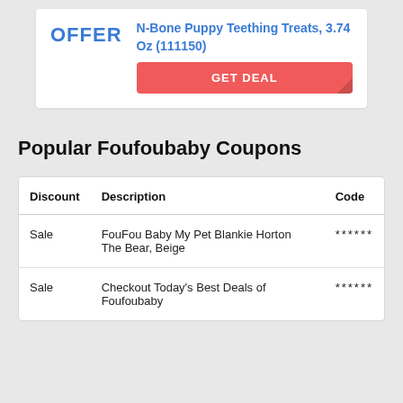[Figure (other): Offer card with blue OFFER label, product title 'N-Bone Puppy Teething Treats, 3.74 Oz (111150)' in blue, and a red GET DEAL button with folded corner]
Popular Foufoubaby Coupons
| Discount | Description | Code |
| --- | --- | --- |
| Sale | FouFou Baby My Pet Blankie Horton The Bear, Beige | ****** |
| Sale | Checkout Today's Best Deals of Foufoubaby | ****** |